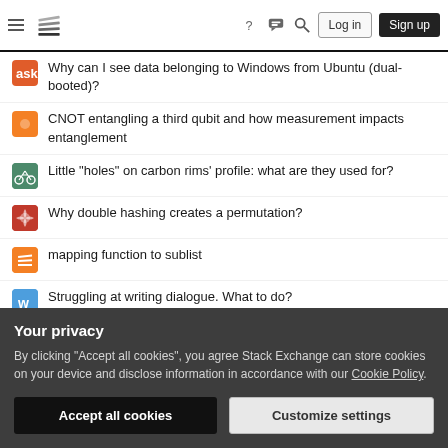Stack Exchange navigation header with Log in and Sign up buttons
Why can I see data belonging to Windows from Ubuntu (dual-booted)?
CNOT entangling a third qubit and how measurement impacts entanglement
Little "holes" on carbon rims' profile: what are they used for?
Why double hashing creates a permutation?
mapping function to sublist
Struggling at writing dialogue. What to do?
How to make my table neater
Meaning of 了 after and before certain verbs
Put a specific file in every Unix user's home directory when they're
Your privacy
By clicking "Accept all cookies", you agree Stack Exchange can store cookies on your device and disclose information in accordance with our Cookie Policy.
Accept all cookies   Customize settings